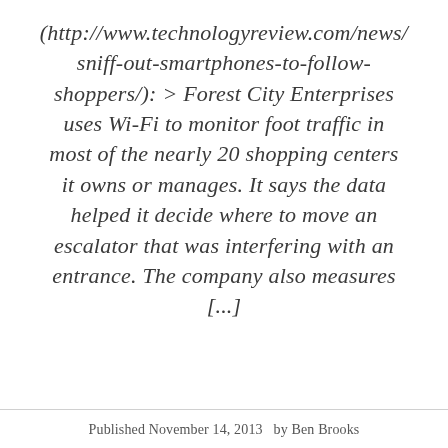(http://www.technologyreview.com/news/sniff-out-smartphones-to-follow-shoppers/): > Forest City Enterprises uses Wi-Fi to monitor foot traffic in most of the nearly 20 shopping centers it owns or manages. It says the data helped it decide where to move an escalator that was interfering with an entrance. The company also measures [...]
Published November 14, 2013   by Ben Brooks